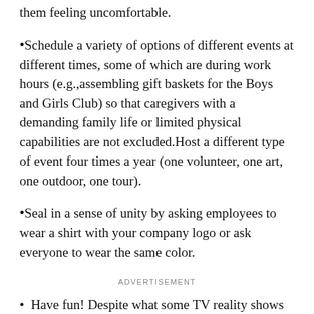them feeling uncomfortable.
•Schedule a variety of options of different events at different times, some of which are during work hours (e.g.,assembling gift baskets for the Boys and Girls Club) so that caregivers with a demanding family life or limited physical capabilities are not excluded.Host a different type of event four times a year (one volunteer, one art, one outdoor, one tour).
•Seal in a sense of unity by asking employees to wear a shirt with your company logo or ask everyone to wear the same color.
ADVERTISEMENT
• Have fun! Despite what some TV reality shows might display, no one wants to participate in activities that reinforce that the boss is the boss. This is your chance to